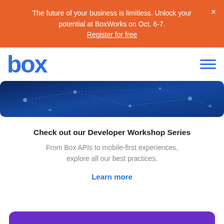The future of your business is limitless. Unlock your potential at BoxWorks on Oct. 6-7. Register for free
[Figure (screenshot): Box logo navigation bar with blue 'box' wordmark on left and hamburger menu lines on right]
[Figure (illustration): Dark blue banner with network/constellation dot pattern connecting nodes]
Check out our Developer Workshop Series
From Box APIs to mobile-first experiences, explore all our best practices.
Learn more
[Figure (illustration): Purple/violet curved bar at bottom of page]